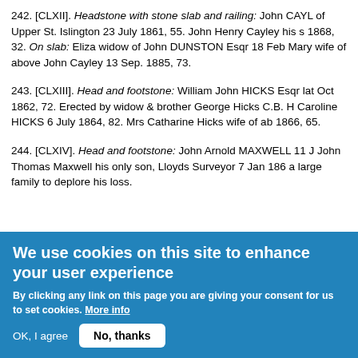242. [CLXII]. Headstone with stone slab and railing: John CAYL of Upper St. Islington 23 July 1861, 55. John Henry Cayley his s 1868, 32. On slab: Eliza widow of John DUNSTON Esqr 18 Feb Mary wife of above John Cayley 13 Sep. 1885, 73.
243. [CLXIII]. Head and footstone: William John HICKS Esqr lat Oct 1862, 72. Erected by widow & brother George Hicks C.B. H Caroline HICKS 6 July 1864, 82. Mrs Catharine Hicks wife of ab 1866, 65.
244. [CLXIV]. Head and footstone: John Arnold MAXWELL 11 J John Thomas Maxwell his only son, Lloyds Surveyor 7 Jan 186 a large family to deplore his loss.
We use cookies on this site to enhance your user experience
By clicking any link on this page you are giving your consent for us to set cookies. More info
OK, I agree | No, thanks